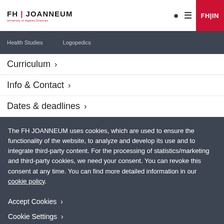FH | JOANNEUM University of Applied Sciences
Health Studies
Logopedics
Curriculum >
Info & Contact >
Dates & deadlines >
The FH JOANNEUM uses cookies, which are used to ensure the functionality of the website, to analyze and develop its use and to integrate third-party content. For the processing of statistics/marketing and third-party cookies, we need your consent. You can revoke this consent at any time. You can find more detailed information in our cookie policy.
Accept Cookies >
Cookie Settings >